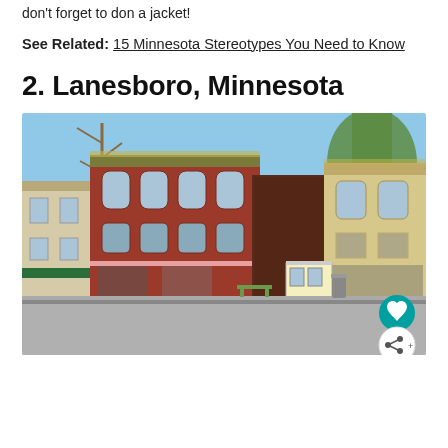don't forget to don a jacket!
See Related: 15 Minnesota Stereotypes You Need to Know
2. Lanesboro, Minnesota
[Figure (photo): Street view of historic downtown Lanesboro, Minnesota showing old brick storefronts, a green awning on the left, blue sky, and a small trolley-style structure in the middle of the street.]